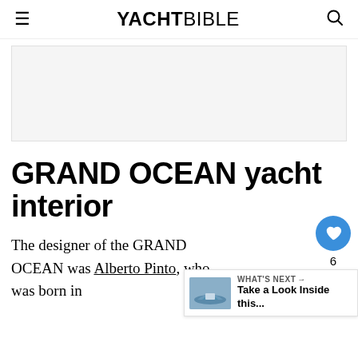YACHTBIBLE
[Figure (other): Advertisement placeholder rectangle with light gray background]
GRAND OCEAN yacht interior
The designer of the GRAND OCEAN was Alberto Pinto, who was born in